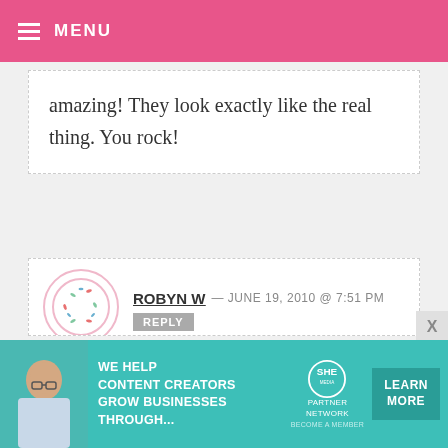MENU
amazing! They look exactly like the real thing. You rock!
ROBYN W — JUNE 19, 2010 @ 7:51 PM REPLY
We're go son is 2 1, movie the excited. T off work to we can make it a family affair. He sits through movies at home
[Figure (infographic): SHE Media Partner Network advertisement banner: We help content creators grow businesses through...]